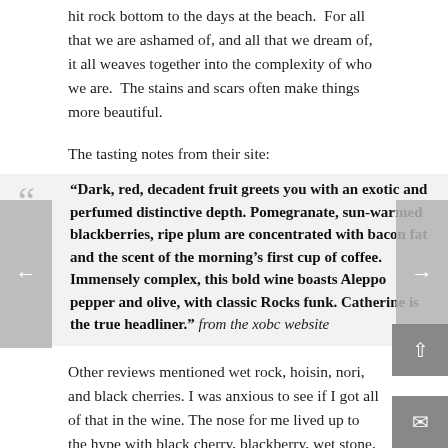hit rock bottom to the days at the beach.  For all that we are ashamed of, and all that we dream of, it all weaves together into the complexity of who we are.  The stains and scars often make things more beautiful.
The tasting notes from their site:
“Dark, red, decadent fruit greets you with an exotic and perfumed distinctive depth. Pomegranate, sun-warmed blackberries, ripe plum are concentrated with bacon fat and the scent of the morning’s first cup of coffee. Immensely complex, this bold wine boasts Aleppo pepper and olive, with classic Rocks funk. Catherine is the true headliner.” from the xobc website
Other reviews mentioned wet rock, hoisin, nori, and black cherries. I was anxious to see if I got all of that in the wine. The nose for me lived up to the hype with black cherry, blackberry, wet stone, black olive, and bacon drippings.